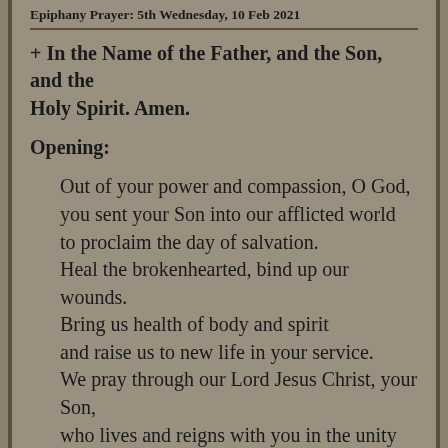Epiphany Prayer: 5th Wednesday, 10 Feb 2021
+ In the Name of the Father, and the Son, and the Holy Spirit. Amen.
Opening:
Out of your power and compassion, O God,
you sent your Son into our afflicted world
to proclaim the day of salvation.
Heal the brokenhearted, bind up our wounds.
Bring us health of body and spirit
and raise us to new life in your service.
We pray through our Lord Jesus Christ, your Son,
who lives and reigns with you in the unity of the Holy Spirit,
God for ever and ever. Amen.
“Where...the...spirit...as...I